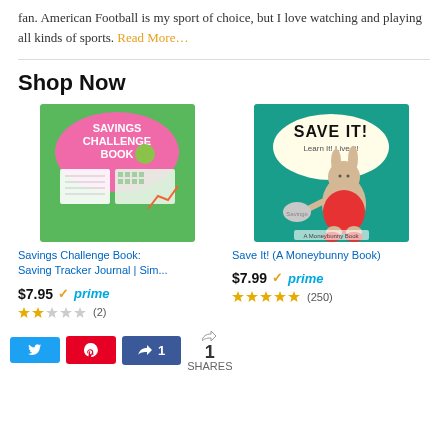fan. American Football is my sport of choice, but I love watching and playing all kinds of sports. Read More…
Shop Now
[Figure (photo): Book cover: Savings Challenge Book: Saving Tracker Journal | Sim...]
Savings Challenge Book: Saving Tracker Journal | Sim...
$7.95 ✓prime
★★★☆☆ (2)
[Figure (photo): Book cover: Save It! (A Moneybunny Book)]
Save It! (A Moneybunny Book)
$7.99 ✓prime
★★★★★ (250)